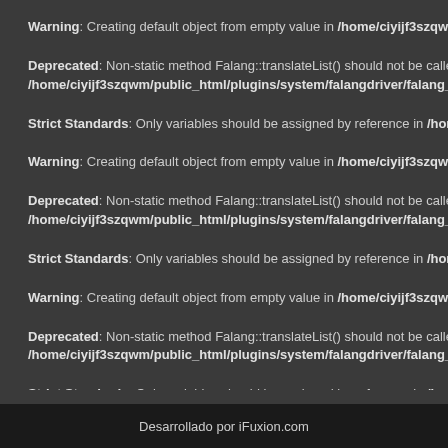Warning: Creating default object from empty value in /home/ciyijf3szqwm/pub
Deprecated: Non-static method Falang::translateList() should not be called stati /home/ciyijf3szqwm/public_html/plugins/system/falangdriver/falang_datab
Strict Standards: Only variables should be assigned by reference in /home/ciy
Warning: Creating default object from empty value in /home/ciyijf3szqwm/pub
Deprecated: Non-static method Falang::translateList() should not be called stati /home/ciyijf3szqwm/public_html/plugins/system/falangdriver/falang_datab
Strict Standards: Only variables should be assigned by reference in /home/ciy
Warning: Creating default object from empty value in /home/ciyijf3szqwm/pub
Deprecated: Non-static method Falang::translateList() should not be called stati /home/ciyijf3szqwm/public_html/plugins/system/falangdriver/falang_datab
Strict Standards: Only variables should be assigned by reference in /home/ciy
Desarrollado por iFuxion.com